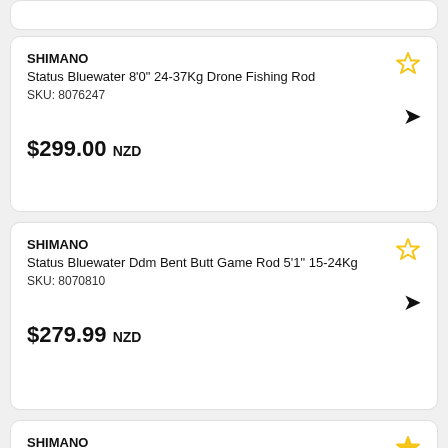(partial card top)
SHIMANO
Status Bluewater 8'0" 24-37Kg Drone Fishing Rod
SKU: 8076247
$299.00 NZD
SHIMANO
Status Bluewater Ddm Bent Butt Game Rod 5'1" 15-24Kg
SKU: 8070810
$279.99 NZD
SHIMANO
Status Bluewater Ddm Bent Butt Game Rod 5'6" Pe5-8 (partial)